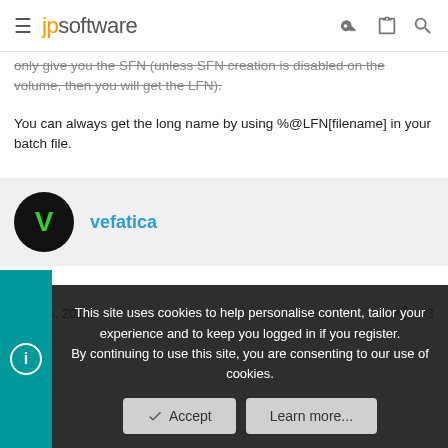jpsoftware
only give you the SFN (unless SFN creation is disabled on the volume, then you will get the LFN).
You can always get the long name by using %@LFN[filename] in your batch file.
vefatica
Feb 15, 2017  #3
This site uses cookies to help personalise content, tailor your experience and to keep you logged in if you register.
By continuing to use this site, you are consenting to our use of cookies.
Accept
Learn more...